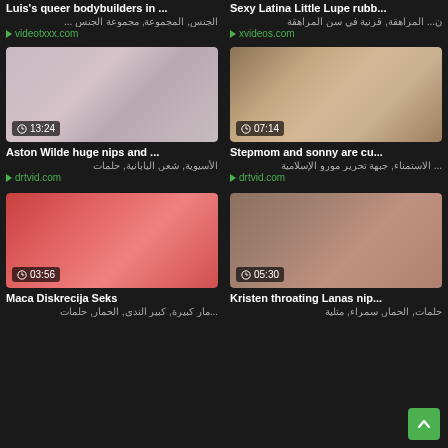Luis's queer bodybuilders in ...
Sexy Latina Little Lupe rubb...
الجنس, المجموعة, مجموعة الجنس ...
ن... المراهقة, قرنية في سن المراهقة
videotxxx.com
xvideos.com
[Figure (photo): Video thumbnail showing person lying down, duration 13:24]
[Figure (photo): Video thumbnail showing blonde woman, duration 07:14]
Aston Wilde huge nips and ...
Stepmom and sonny are cu...
الأسيوية, شعر, اليابانية, حلمات
... الاستمناء, جبهة تحرير مورو الإسلامية
drtvid.com
drtvid.com
[Figure (photo): Video thumbnail showing red/pink blurred image, duration 03:56]
[Figure (photo): Video thumbnail showing person on couch, duration 05:30]
Maca Diskrecija Seks
Kristen throating Lanas nip...
...مار كبيرة, كبير الندى, الحمار, حلمات
حلمات, الحمار, سمراء, متلية